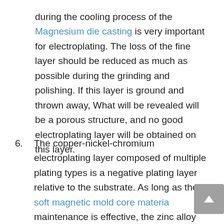during the cooling process of the Magnesium die casting is very important for electroplating. The loss of the fine layer should be reduced as much as possible during the grinding and polishing. If this layer is ground and thrown away, What will be revealed will be a porous structure, and no good electroplating layer will be obtained on this layer.
6. The copper-nickel-chromium electroplating layer composed of multiple plating types is a negative plating layer relative to the substrate. As long as the soft magnetic mold core materia maintenance is effective, the zinc alloy parts will corrode in the humid air, so it is necessary to ensure that the plating layer is